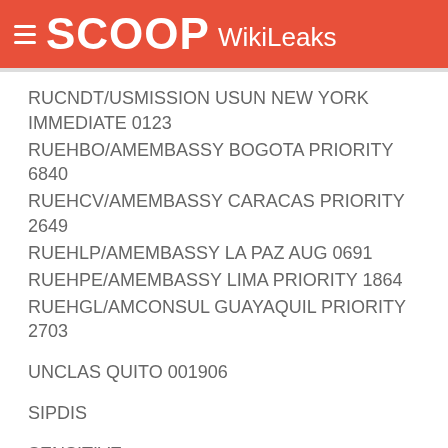SCOOP WikiLeaks
RUCNDT/USMISSION USUN NEW YORK IMMEDIATE 0123
RUEHBO/AMEMBASSY BOGOTA PRIORITY 6840
RUEHCV/AMEMBASSY CARACAS PRIORITY 2649
RUEHLP/AMEMBASSY LA PAZ AUG 0691
RUEHPE/AMEMBASSY LIMA PRIORITY 1864
RUEHGL/AMCONSUL GUAYAQUIL PRIORITY 2703
UNCLAS QUITO 001906
SIPDIS
SENSITIVE